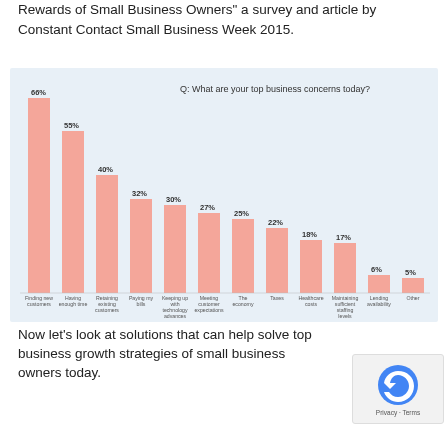Rewards of Small Business Owners" a survey and article by Constant Contact Small Business Week 2015.
[Figure (bar-chart): Q: What are your top business concerns today?]
Now let's look at solutions that can help solve top business growth strategies of small business owners today.